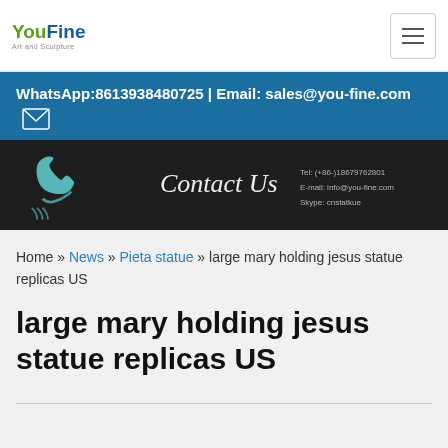YouFine Art and Sculpture
WhatsApp:8613938480725 | Email: sales@you-fine.com
[Figure (illustration): Dark chalkboard-style Contact Us banner with a light blue telephone icon on the left and cursive 'Contact Us' text, with contact details (Tel, E-mail, Skype) on the right side]
Home » News » Pieta statue » large mary holding jesus statue replicas US
large mary holding jesus statue replicas US